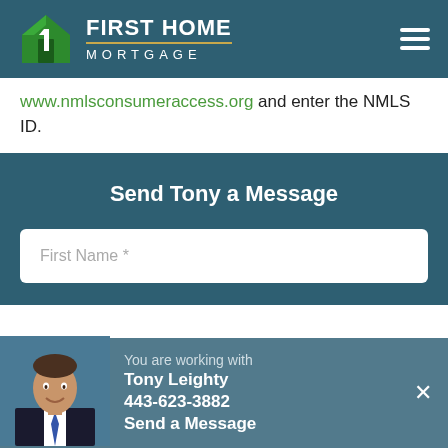[Figure (logo): First Home Mortgage logo with green house icon and white text on dark teal header background]
www.nmlsconsumeraccess.org and enter the NMLS ID.
Send Tony a Message
First Name *
You are working with Tony Leighty 443-623-3882 Send a Message